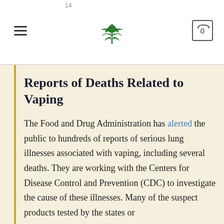14
Reports of Deaths Related to Vaping
The Food and Drug Administration has alerted the public to hundreds of reports of serious lung illnesses associated with vaping, including several deaths. They are working with the Centers for Disease Control and Prevention (CDC) to investigate the cause of these illnesses. Many of the suspect products tested by the states or